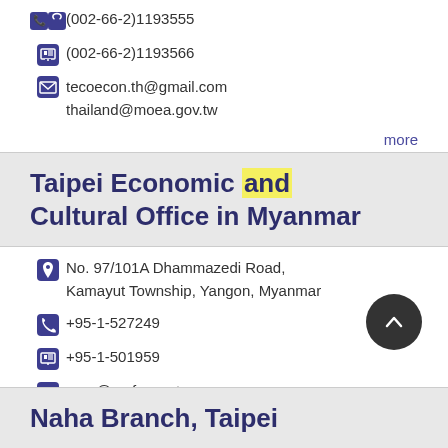(002-66-2)1193555
(002-66-2)1193566
tecoecon.th@gmail.com
thailand@moea.gov.tw
more
Taipei Economic and Cultural Office in Myanmar
No. 97/101A Dhammazedi Road, Kamayut Township, Yangon, Myanmar
+95-1-527249
+95-1-501959
mmr@mofa.gov.tw
https://www.roc-taiwan.org/mm/index.html
more
Naha Branch, Taipei